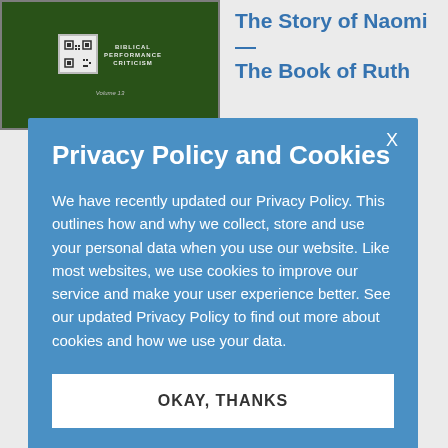[Figure (illustration): Book cover with dark green background, small icon/logo, text 'BIBLICAL PERFORMANCE CRITICISM' and 'Volume 13']
The Story of Naomi—The Book of Ruth
to Politics les and oan
00 /
8206181 juary 2016 rback ade Books
f Ruth is st known ic love hrough ion of tion, overcomes tragedy
Privacy Policy and Cookies
We have recently updated our Privacy Policy. This outlines how and why we collect, store and use your personal data when you use our website. Like most websites, we use cookies to improve our service and make your user experience better. See our updated Privacy Policy to find out more about cookies and how we use your data.
OKAY, THANKS